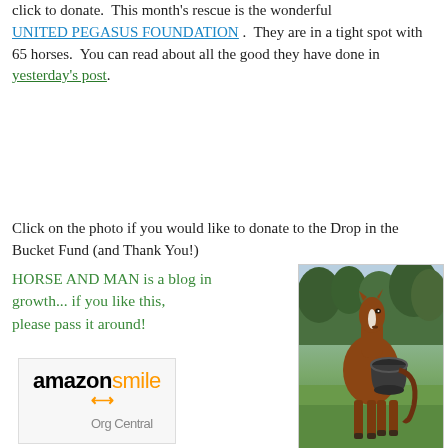click to donate.  This month's rescue is the wonderful UNITED PEGASUS FOUNDATION .  They are in a tight spot with 65 horses.  You can read about all the good they have done in yesterday's post.
Click on the photo if you would like to donate to the Drop in the Bucket Fund (and Thank You!)
HORSE AND MAN is a blog in growth... if you like this, please pass it around!
[Figure (logo): Amazon Smile Org Central logo with orange arrow and text]
Please choose HORSE AND MAN, INC when you shop via Amazon Smile through this
[Figure (photo): A chestnut horse standing in a green field holding a dark bucket in its mouth, with trees in the background]